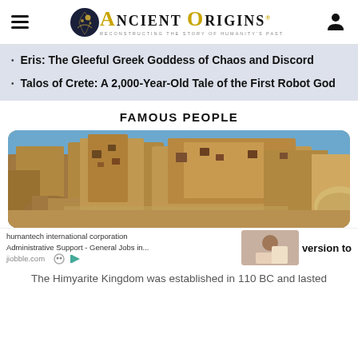Ancient Origins - Reconstructing the Story of Humanity's Past
Eris: The Gleeful Greek Goddess of Chaos and Discord
Talos of Crete: A 2,000-Year-Old Tale of the First Robot God
FAMOUS PEOPLE
[Figure (photo): Ruins of an ancient stone city/fortress under a blue sky, likely the Himyarite Kingdom site]
humantech international corporation Administrative Support - General Jobs in... jiobble.com
version to
The Himyarite Kingdom was established in 110 BC and lasted